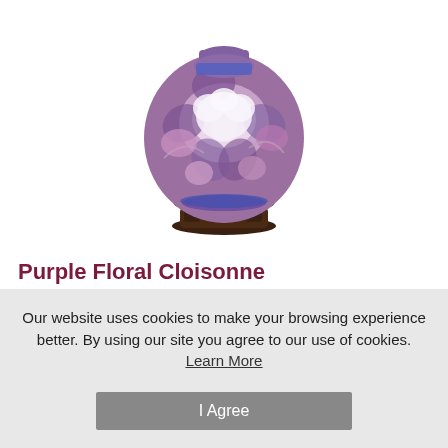[Figure (photo): Purple floral cloisonne keepsake urn with decorative wooden stand, featuring white and purple flower designs on a round body]
Purple Floral Cloisonne Keepsake Urn 2.5 Cu In
Price: $62.00
Our website uses cookies to make your browsing experience better. By using our site you agree to our use of cookies. Learn More
I Agree